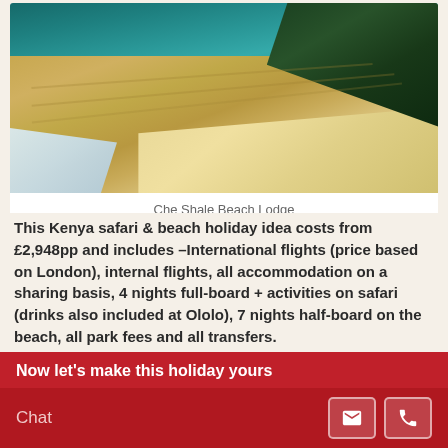[Figure (photo): Aerial view of Che Shale Beach Lodge, Kenya — showing a wide sandy beach curving along turquoise ocean water, with lush green trees and lodge structures in the upper right corner, and gentle surf on the left side.]
Che Shale Beach Lodge
This Kenya safari & beach holiday idea costs from £2,948pp and includes –International flights (price based on London), internal flights, all accommodation on a sharing basis, 4 nights full-board + activities on safari (drinks also included at Ololo), 7 nights half-board on the beach, all park fees and all transfers.
Now let's make this holiday yours
Chat
Fancy a bit of diving? Let us do the work. Call 01373